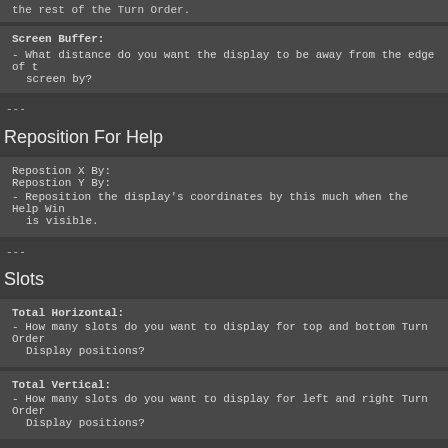the rest of the Turn Order.
Screen Buffer:
- What distance do you want the display to be away from the edge of the screen by?
---
Reposition For Help
Repostion X By:
Repostion Y By:
- Reposition the display's coordinates by this much when the Help Window is visible.
---
Slots
Total Horizontal:
- How many slots do you want to display for top and bottom Turn Order Display positions?
Total Vertical:
- How many slots do you want to display for left and right Turn Order Display positions?